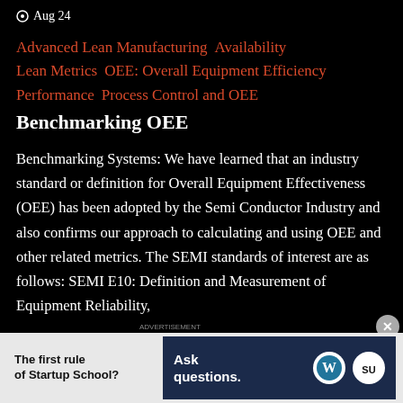Aug 24
Advanced Lean Manufacturing  Availability
Lean Metrics  OEE: Overall Equipment Efficiency
Performance  Process Control and OEE
Benchmarking OEE
Benchmarking Systems: We have learned that an industry standard or definition for Overall Equipment Effectiveness (OEE) has been adopted by the Semi Conductor Industry and also confirms our approach to calculating and using OEE and other related metrics. The SEMI standards of interest are as follows: SEMI E10: Definition and Measurement of Equipment Reliability,
[Figure (screenshot): Advertisement banner: left side on light grey background reads 'The first rule of Startup School?' in bold black text; right side on dark navy background shows 'Ask questions.' in white bold text with WordPress logo and startup school logo on the right]